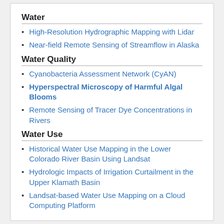Water
High-Resolution Hydrographic Mapping with Lidar
Near-field Remote Sensing of Streamflow in Alaska
Water Quality
Cyanobacteria Assessment Network (CyAN)
Hyperspectral Microscopy of Harmful Algal Blooms
Remote Sensing of Tracer Dye Concentrations in Rivers
Water Use
Historical Water Use Mapping in the Lower Colorado River Basin Using Landsat
Hydrologic Impacts of Irrigation Curtailment in the Upper Klamath Basin
Landsat-based Water Use Mapping on a Cloud Computing Platform